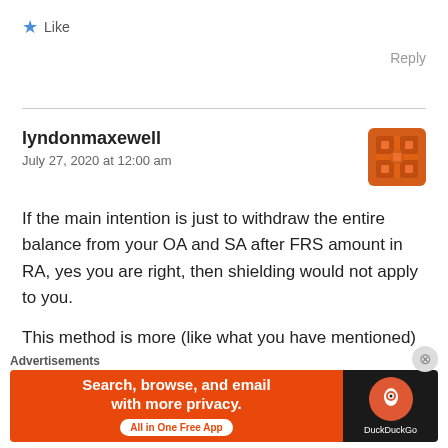★ Like
Reply
lyndonmaxewell
July 27, 2020 at 12:00 am
If the main intention is just to withdraw the entire balance from your OA and SA after FRS amount in RA, yes you are right, then shielding would not apply to you.
This method is more (like what you have mentioned)
Advertisements
Search, browse, and email with more privacy. All in One Free App DuckDuckGo